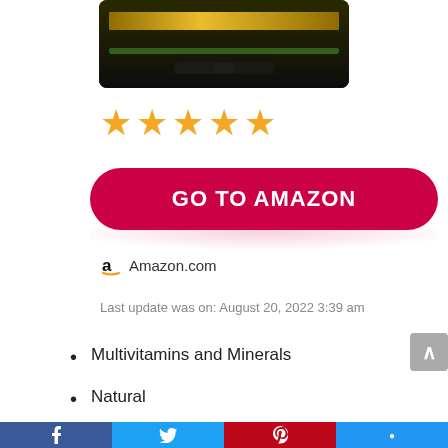[Figure (photo): Bottom portion of a supplement product bottle with dark cap and gold/green label band, cropped from top]
★★★★★
[Figure (infographic): Red rounded-rectangle button with white bold text 'GO TO AMAZON']
Amazon.com
Last update was on: August 20, 2022 3:39 am
Multivitamins and Minerals
Natural
whole food
Social sharing bar: Facebook, Twitter, Pinterest, other